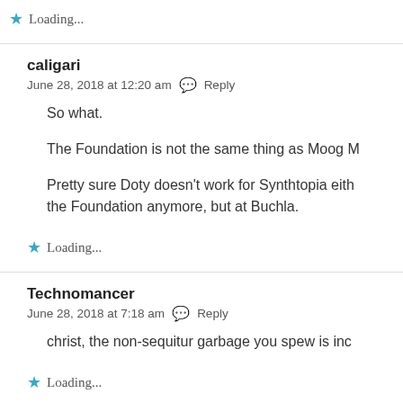Loading...
caligari
June 28, 2018 at 12:20 am  Reply

So what.

The Foundation is not the same thing as Moog M

Pretty sure Doty doesn't work for Synthtopia eith the Foundation anymore, but at Buchla.
Loading...
Technomancer
June 28, 2018 at 7:18 am  Reply

christ, the non-sequitur garbage you spew is inc
Loading...